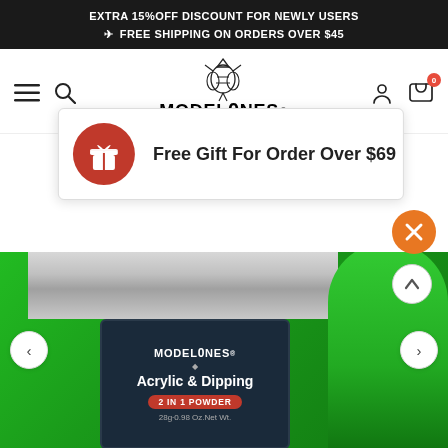EXTRA 15%OFF DISCOUNT FOR NEWLY USERS ✈ FREE SHIPPING ON ORDERS OVER $45
[Figure (screenshot): Modelones brand navigation bar with hamburger menu, search icon, Modelones bee logo and brand name, user icon, and cart icon with 0 badge]
[Figure (infographic): Popup banner: red circle gift icon with 'Free Gift For Order Over $69' text, white background with border]
[Figure (photo): Product image of Modelones Acrylic & Dipping 2 IN 1 POWDER jar (28g 0.98 Oz Net Wt.) in green metallic container with silver lid, with prev/next navigation arrows, orange close button, and scroll-up button, and green nail tip visible on right side]